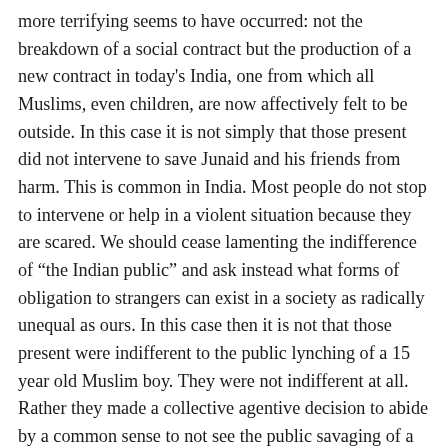more terrifying seems to have occurred: not the breakdown of a social contract but the production of a new contract in today's India, one from which all Muslims, even children, are now affectively felt to be outside. In this case it is not simply that those present did not intervene to save Junaid and his friends from harm. This is common in India. Most people do not stop to intervene or help in a violent situation because they are scared. We should cease lamenting the indifference of “the Indian public” and ask instead what forms of obligation to strangers can exist in a society as radically unequal as ours. In this case then it is not that those present were indifferent to the public lynching of a 15 year old Muslim boy. They were not indifferent at all. Rather they made a collective agentive decision to abide by a common sense to not see the public savaging of a Muslim boy. The blind wall behind which Junaid’s body lies reflects a positive action on the part of the Hindus present to collectively agree to refuse him the most basic recognitions humanity (that is the force by which humans recognize each other as sharing a